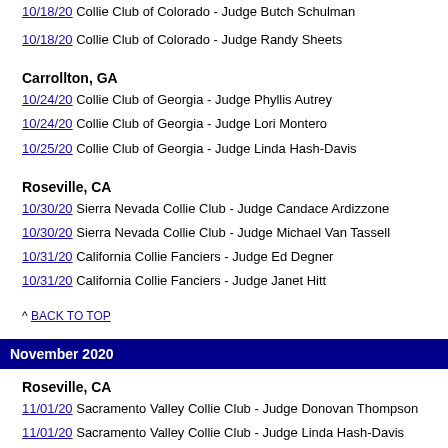10/18/20 Collie Club of Colorado - Judge Butch Schulman
10/18/20 Collie Club of Colorado - Judge Randy Sheets
Carrollton, GA
10/24/20 Collie Club of Georgia - Judge Phyllis Autrey
10/24/20 Collie Club of Georgia - Judge Lori Montero
10/25/20 Collie Club of Georgia - Judge Linda Hash-Davis
Roseville, CA
10/30/20 Sierra Nevada Collie Club - Judge Candace Ardizzone
10/30/20 Sierra Nevada Collie Club - Judge Michael Van Tassell
10/31/20 California Collie Fanciers - Judge Ed Degner
10/31/20 California Collie Fanciers - Judge Janet Hitt
^ BACK TO TOP
November 2020
Roseville, CA
11/01/20 Sacramento Valley Collie Club - Judge Donovan Thompson
11/01/20 Sacramento Valley Collie Club - Judge Linda Hash-Davis